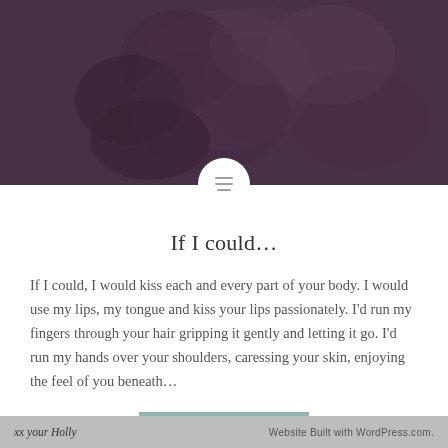[Figure (photo): Dark mauve/purple toned decorative hero image showing abstract floral or rose shapes with dark overlay]
If I could…
If I could, I would kiss each and every part of your body. I would use my lips, my tongue and kiss your lips passionately. I'd run my fingers through your hair gripping it gently and letting it go. I'd run my hands over your shoulders, caressing your skin, enjoying the feel of you beneath…
READ MORE
xx your Holly | Website Built with WordPress.com.